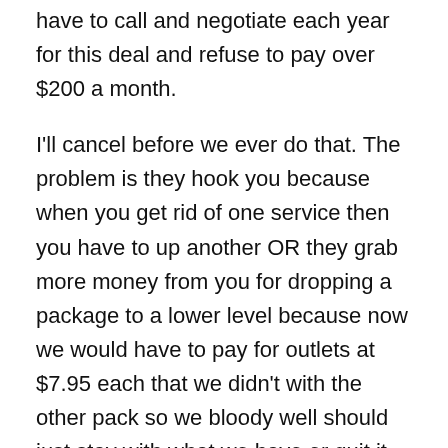have to call and negotiate each year for this deal and refuse to pay over $200 a month.
I'll cancel before we ever do that. The problem is they hook you because when you get rid of one service then you have to up another OR they grab more money from you for dropping a package to a lower level because now we would have to pay for outlets at $7.95 each that we didn't with the other pack so we bloody well should just stay with what we have or quit it all together.
Budget Busters, you bet they are but certainly we have choices whether to keep them or get rid of them. Our home insurance and life insurance is fairly cheap. Since we have been members for a few